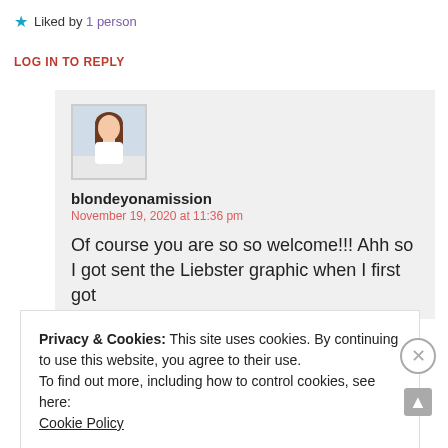★ Liked by 1 person
LOG IN TO REPLY
[Figure (photo): Avatar photo of a woman with long hair in a white top]
blondeyonamission
November 19, 2020 at 11:36 pm
Of course you are so so welcome!!! Ahh so I got sent the Liebster graphic when I first got
Privacy & Cookies: This site uses cookies. By continuing to use this website, you agree to their use.
To find out more, including how to control cookies, see here:
Cookie Policy
CLOSE AND ACCEPT